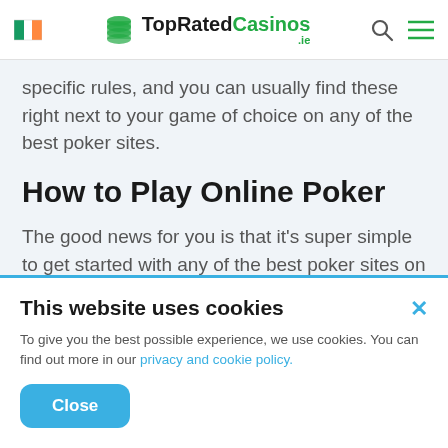TopRatedCasinos.ie
specific rules, and you can usually find these right next to your game of choice on any of the best poker sites.
How to Play Online Poker
The good news for you is that it's super simple to get started with any of the best poker sites on this page. However, just like any poker Ireland site, you need to create an account, which can be done by following these
This website uses cookies
To give you the best possible experience, we use cookies. You can find out more in our privacy and cookie policy.
Close